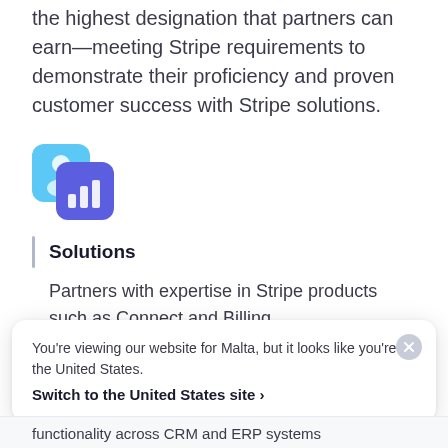specializations to prove. Specializations are the highest designation that partners can earn—meeting Stripe requirements to demonstrate their proficiency and proven customer success with Stripe solutions.
[Figure (illustration): Layered app icons showing a light blue square with a profile/person icon and a dark blue/purple square with bar chart icon]
Solutions
Partners with expertise in Stripe products such as Connect and Billing
[Figure (illustration): Partial view of another icon at bottom of main content area (light blue partial circle visible)]
You're viewing our website for Malta, but it looks like you're in the United States.
Switch to the United States site ›
functionality across CRM and ERP systems